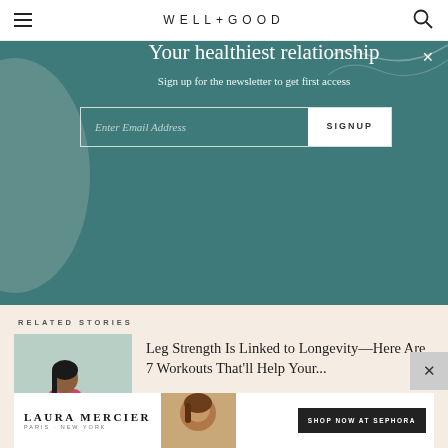WELL+GOOD
Your healthiest relationship
Sign up for the newsletter to get first access
Enter Email Address  SIGNUP
RELATED STORIES
Leg Strength Is Linked to Longevity—Here Are 7 Workouts That'll Help Your...
[Figure (photo): Woman in pink long-sleeve top and blue leggings sitting outdoors, looking at phone]
[Figure (photo): Laura Mercier advertisement with model and text SHOP NOW AT SEPHORA]